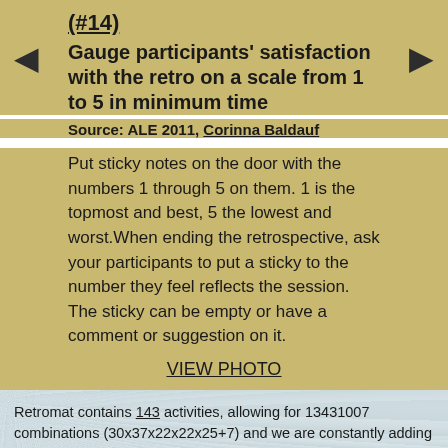(#14) Gauge participants' satisfaction with the retro on a scale from 1 to 5 in minimum time
Source: ALE 2011, Corinna Baldauf
Put sticky notes on the door with the numbers 1 through 5 on them. 1 is the topmost and best, 5 the lowest and worst.When ending the retrospective, ask your participants to put a sticky to the number they feel reflects the session. The sticky can be empty or have a comment or suggestion on it.
VIEW PHOTO
Retromat contains 143 activities, allowing for 13431007 combinations (30x37x22x22x25+7) and we are constantly adding more.
Created by Corinna Baldauf
Corinna wished for something like Retromat during her Scrummaster years. Eventually she just built it herself in the hope that it would be useful to others, too. Any